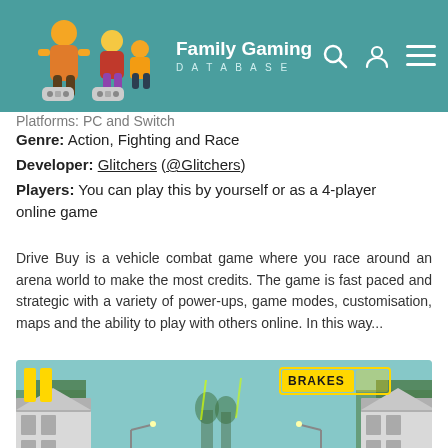Family Gaming Database
Platforms: PC and Switch
Genre: Action, Fighting and Race
Developer: Glitchers (@Glitchers)
Players: You can play this by yourself or as a 4-player online game
Drive Buy is a vehicle combat game where you race around an arena world to make the most credits. The game is fast paced and strategic with a variety of power-ups, game modes, customisation, maps and the ability to play with others online. In this way...
[Figure (screenshot): Screenshot of Drive Buy game showing a road with cars and buildings, with a BRAKES UI element in the top right corner]